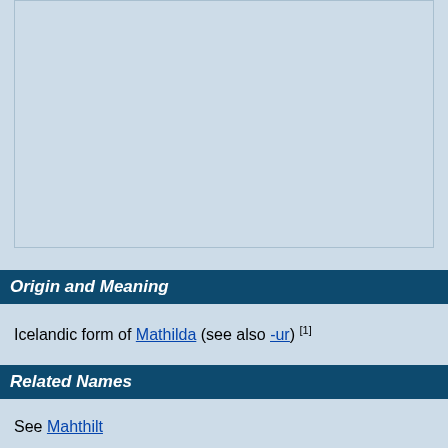[Figure (other): Light blue rectangular box, empty, representing an image placeholder]
Origin and Meaning
Icelandic form of Mathilda (see also -ur) [1]
Related Names
See Mahthilt